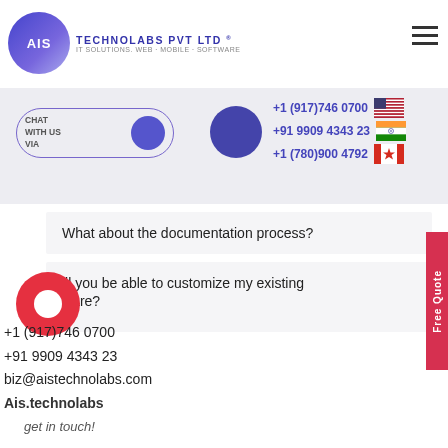AIS TECHNOLABS PVT LTD | IT SOLUTIONS. WEB · MOBILE · SOFTWARE
+1 (917)746 0700 | +91 9909 4343 23 | +1 (780)900 4792
What about the documentation process?
Will you be able to customize my existing software?
+1 (917)746 0700
+91 9909 4343 23
biz@aistechnolabs.com
Ais.technolabs
get in touch!